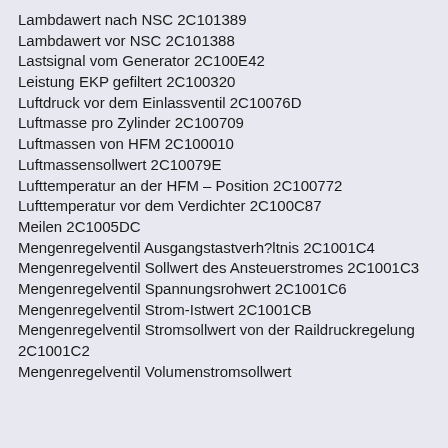Lambdawert nach NSC 2C101389
Lambdawert vor NSC 2C101388
Lastsignal vom Generator 2C100E42
Leistung EKP gefiltert 2C100320
Luftdruck vor dem Einlassventil 2C10076D
Luftmasse pro Zylinder 2C100709
Luftmassen von HFM 2C100010
Luftmassensollwert 2C10079E
Lufttemperatur an der HFM – Position 2C100772
Lufttemperatur vor dem Verdichter 2C100C87
Meilen 2C1005DC
Mengenregelventil Ausgangstastverh?ltnis 2C1001C4
Mengenregelventil Sollwert des Ansteuerstromes 2C1001C3
Mengenregelventil Spannungsrohwert 2C1001C6
Mengenregelventil Strom-Istwert 2C1001CB
Mengenregelventil Stromsollwert von der Raildruckregelung 2C1001C2
Mengenregelventil Volumenstromsollwert